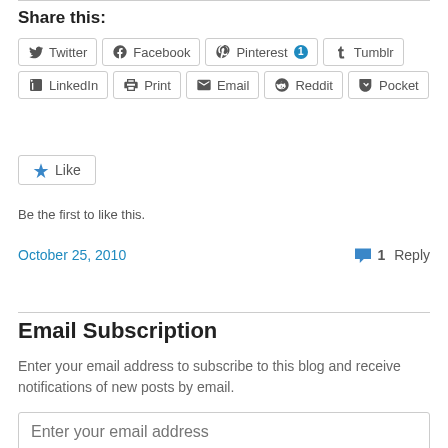Share this:
Twitter  Facebook  Pinterest 1  Tumblr  LinkedIn  Print  Email  Reddit  Pocket
Like  Be the first to like this.
October 25, 2010   1 Reply
Email Subscription
Enter your email address to subscribe to this blog and receive notifications of new posts by email.
Enter your email address